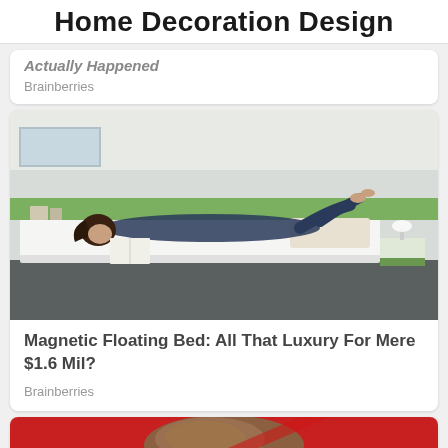Home Decoration Design
Actually Happened
Brainberries
[Figure (photo): Photo of a person lying on a low-platform magnetic floating bed in a modern minimalist bedroom, reading a book. White walls, green accents, white bedding, dark floor.]
Magnetic Floating Bed: All That Luxury For Mere $1.6 Mil?
Brainberries
[Figure (photo): Partial view of a photo with red background and brown textured object, partially cropped at bottom of page.]